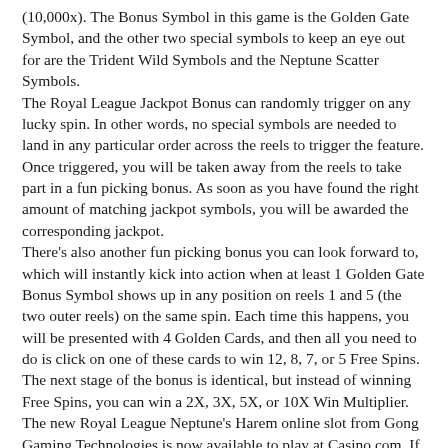(10,000x). The Bonus Symbol in this game is the Golden Gate Symbol, and the other two special symbols to keep an eye out for are the Trident Wild Symbols and the Neptune Scatter Symbols.
The Royal League Jackpot Bonus can randomly trigger on any lucky spin. In other words, no special symbols are needed to land in any particular order across the reels to trigger the feature. Once triggered, you will be taken away from the reels to take part in a fun picking bonus. As soon as you have found the right amount of matching jackpot symbols, you will be awarded the corresponding jackpot.
There's also another fun picking bonus you can look forward to, which will instantly kick into action when at least 1 Golden Gate Bonus Symbol shows up in any position on reels 1 and 5 (the two outer reels) on the same spin. Each time this happens, you will be presented with 4 Golden Cards, and then all you need to do is click on one of these cards to win 12, 8, 7, or 5 Free Spins. The next stage of the bonus is identical, but instead of winning Free Spins, you can win a 2X, 3X, 5X, or 10X Win Multiplier.
The new Royal League Neptune's Harem online slot from Gong Gaming Technologies is now available to play at Casino.com. If you enjoy playing this game when you next play at this top-rated SA online casino and want more slots from the same provider, then you may also like to try Queen of Treasure, Skulls Heap, Pirate's Quest, and Inferno Gladiator.